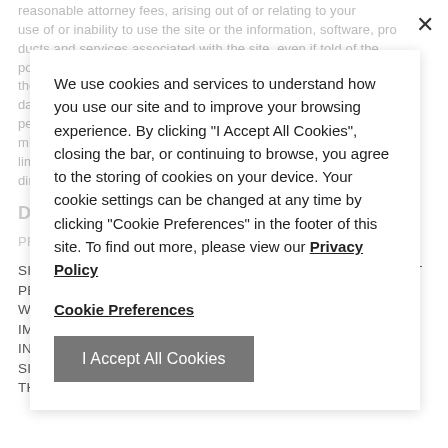reasonable attorney fees, arising out of or relating to your use of or inability to use the site or the information, software, products and services associated with the site, even if told of the possibility of such damages. In jurisdictions that do not allow the exclusion of liability for consequential or incidental damages, our liability is limited to the maximum extent permitted by law.
We use cookies and services to understand how you use our site and to improve your browsing experience. By clicking "I Accept All Cookies", closing the bar, or continuing to browse, you agree to the storing of cookies on your device. Your cookie settings can be changed at any time by clicking "Cookie Preferences" in the footer of this site. To find out more, please view our Privacy Policy
Cookie Preferences
I Accept All Cookies
DISCLAIMER OF WARRANTIES
SITES 'AS IS' AND 'AS AVAILABLE'. TO THE MAXIMUM EXTENT PERMITTED BY LAW, WE MAKE NO REPRESENTATIONS, WARRANTIES OR CONDITIONS OF ANY KIND, EXPRESS OR IMPLIED, AS TO THE OPERATION OF THE SITE OR THE INFORMATION, SOFTWARE, OR CONTENT INCLUDED IN THE SITES. WE MAKE NO REPRESENTATIONS OR WARRANTIES THAT THE SITE WILL BE UNINTERRUPTED, ERROR-FREE,